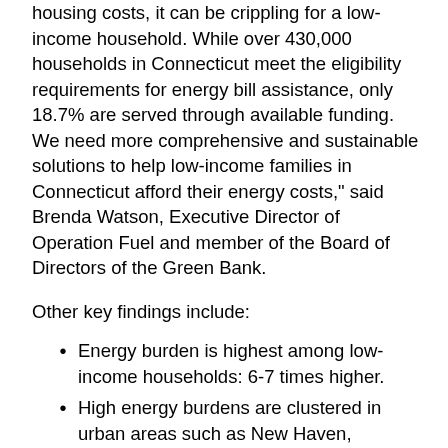housing costs, it can be crippling for a low-income household. While over 430,000 households in Connecticut meet the eligibility requirements for energy bill assistance, only 18.7% are served through available funding. We need more comprehensive and sustainable solutions to help low-income families in Connecticut afford their energy costs," said Brenda Watson, Executive Director of Operation Fuel and member of the Board of Directors of the Green Bank.
Other key findings include:
Energy burden is highest among low-income households: 6-7 times higher.
High energy burdens are clustered in urban areas such as New Haven, Hartford, and Bridgeport.
The combination of efficiency and solar can help close the building energy affordability gap for most households in the state that own their